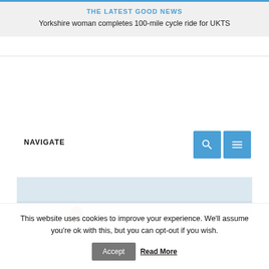THE LATEST GOOD NEWS
Yorkshire woman completes 100-mile cycle ride for UKTS
NAVIGATE
[Figure (photo): Partial image of a person visible at the bottom of the page beneath the navigation bar area]
This website uses cookies to improve your experience. We'll assume you're ok with this, but you can opt-out if you wish.
Accept  Read More